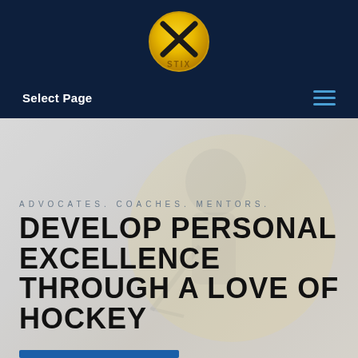[Figure (logo): XSTIX hockey logo — gold circular emblem with a stylized X and hockey sticks, text 'STIX' in gold on dark navy background]
Select Page
[Figure (photo): Faded background photo of a hockey player wearing a yellow/gold helmet, viewed from above/side, overlaid with a light grey wash]
ADVOCATES. COACHES. MENTORS.
DEVELOP PERSONAL EXCELLENCE THROUGH A LOVE OF HOCKEY